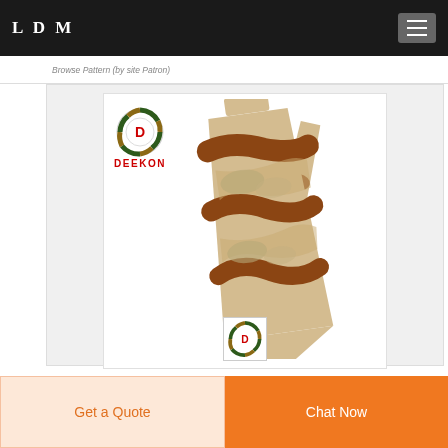LDM
Browse Pattern (by site Patron)
[Figure (photo): Product page showing a camouflage necktie with desert camo pattern (tan, khaki, dark brown stripes), with Deekon brand logo in upper left of product image. The tie is shown folded/overlapping itself against a white background.]
Get a Quote
Chat Now